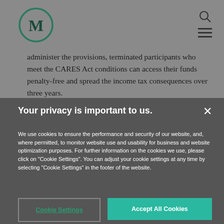[Figure (logo): Mercer logo - circular green border with stylized M letter inside]
administer the provisions, terminated participants who meet the CARES Act conditions can access their funds penalty-free and spread the income tax consequences over three years.
Your privacy is important to us.
We use cookies to ensure the performance and security of our website, and, where permitted, to monitor website use and usability for business and website optimization purposes. For further information on the cookies we use, please click on "Cookie Settings". You can adjust your cookie settings at any time by selecting "Cookie Settings" in the footer of the website.
Cookie Settings
Accept All Cookies